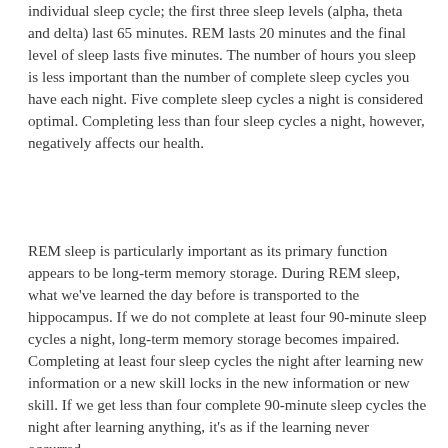individual sleep cycle; the first three sleep levels (alpha, theta and delta) last 65 minutes. REM lasts 20 minutes and the final level of sleep lasts five minutes. The number of hours you sleep is less important than the number of complete sleep cycles you have each night. Five complete sleep cycles a night is considered optimal. Completing less than four sleep cycles a night, however, negatively affects our health.
REM sleep is particularly important as its primary function appears to be long-term memory storage. During REM sleep, what we've learned the day before is transported to the hippocampus. If we do not complete at least four 90-minute sleep cycles a night, long-term memory storage becomes impaired. Completing at least four sleep cycles the night after learning new information or a new skill locks in the new information or new skill. If we get less than four complete 90-minute sleep cycles the night after learning anything, it's as if the learning never occurred.